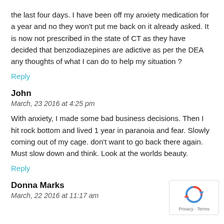the last four days. I have been off my anxiety medication for a year and no they won't put me back on it already asked. It is now not prescribed in the state of CT as they have decided that benzodiazepines are adictive as per the DEA any thoughts of what I can do to help my situation ?
Reply
John
March, 23 2016 at 4:25 pm
With anxiety, I made some bad business decisions. Then I hit rock bottom and lived 1 year in paranoia and fear. Slowly coming out of my cage. don't want to go back there again. Must slow down and think. Look at the worlds beauty.
Reply
Donna Marks
March, 22 2016 at 11:17 am